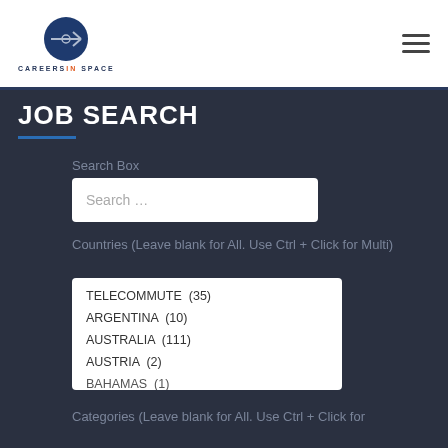[Figure (logo): Careers In Space logo — dark blue circle with horizontal arrow/line symbol, text 'CAREERS IN SPACE' below]
JOB SEARCH
Search Box
Search …
Countries (Leave blank for All. Use Ctrl + Click for Multi)
TELECOMMUTE  (35)
ARGENTINA  (10)
AUSTRALIA  (111)
AUSTRIA  (2)
BAHAMAS  (1)
Categories (Leave blank for All. Use Ctrl + Click for